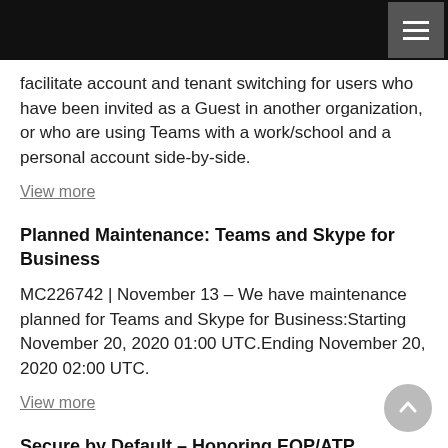[Navigation bar with hamburger menu]
facilitate account and tenant switching for users who have been invited as a Guest in another organization, or who are using Teams with a work/school and a personal account side-by-side.
View more
Planned Maintenance: Teams and Skype for Business
MC226742 | November 13 – We have maintenance planned for Teams and Skype for Business:Starting November 20, 2020 01:00 UTC.Ending November 20, 2020 02:00 UTC.
View more
Secure by Default – Honoring EOP/ATP detonation verdicts
MC226683 | November 13 – We're making some